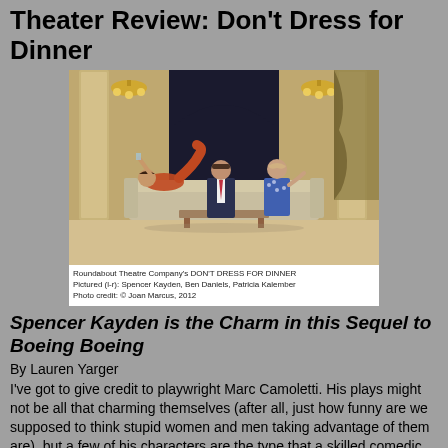Theater Review: Don't Dress for Dinner
[Figure (photo): Theater production photo from Roundabout Theatre Company's DON'T DRESS FOR DINNER. Pictured l-r: Spencer Kayden, Ben Daniels, Patricia Kalember. Photo credit: © Joan Marcus, 2012]
Roundabout Theatre Company's DON'T DRESS FOR DINNER
Pictured (l-r): Spencer Kayden, Ben Daniels, Patricia Kalember
Photo credit: © Joan Marcus, 2012
Spencer Kayden is the Charm in this Sequel to Boeing Boeing
By Lauren Yarger
I've got to give credit to playwright Marc Camoletti. His plays might not be all that charming themselves (after all, just how funny are we supposed to think stupid women and men taking advantage of them are), but a few of his characters are the type that a skilled comedic actor can rip into and make their own.